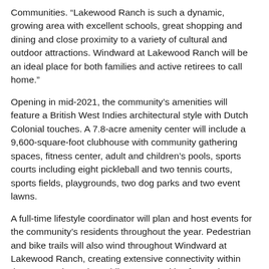Communities. “Lakewood Ranch is such a dynamic, growing area with excellent schools, great shopping and dining and close proximity to a variety of cultural and outdoor attractions. Windward at Lakewood Ranch will be an ideal place for both families and active retirees to call home.”
Opening in mid-2021, the community’s amenities will feature a British West Indies architectural style with Dutch Colonial touches. A 7.8-acre amenity center will include a 9,600-square-foot clubhouse with community gathering spaces, fitness center, adult and children’s pools, sports courts including eight pickleball and two tennis courts, sports fields, playgrounds, two dog parks and two event lawns.
A full-time lifestyle coordinator will plan and host events for the community’s residents throughout the year. Pedestrian and bike trails will also wind throughout Windward at Lakewood Ranch, creating extensive connectivity within the community and providing opportunities for outdoor exercise. Fitness stations will be mixed in along the trails.
Windward at Lakewood Ranch will offer 16 unique floorplans, seven of which will be on display as model homes in the community’s Phase 1. Floorplans will include paired villas and single-family homes. Paired villas range from 1,434 square feet to 1,524 square feet.